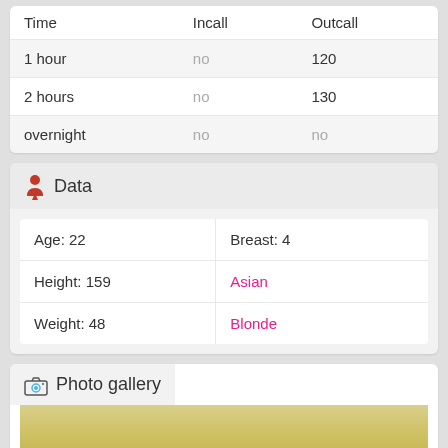| Time | Incall | Outcall |
| --- | --- | --- |
| 1 hour | no | 120 |
| 2 hours | no | 130 |
| overnight | no | no |
Data
| Age: 22 | Breast: 4 |
| Height: 159 | Asian |
| Weight: 48 | Blonde |
Photo gallery
[Figure (photo): Partial photo visible at bottom of page, golden/yellow tones]